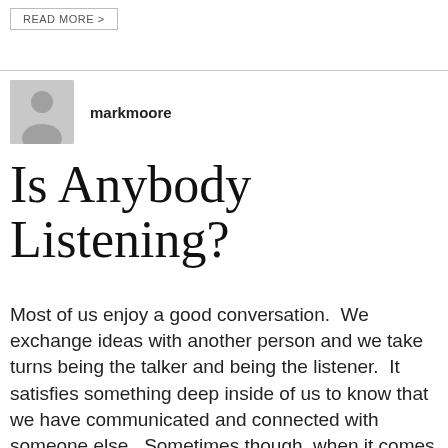READ MORE >
[Figure (illustration): Grey avatar/profile placeholder icon showing silhouette of a person]
markmoore
Is Anybody Listening?
Most of us enjoy a good conversation.  We exchange ideas with another person and we take turns being the talker and being the listener.  It satisfies something deep inside of us to know that we have communicated and connected with someone else.  Sometimes though, when it comes to prayer, it feels like a one-way conversation.  [...]